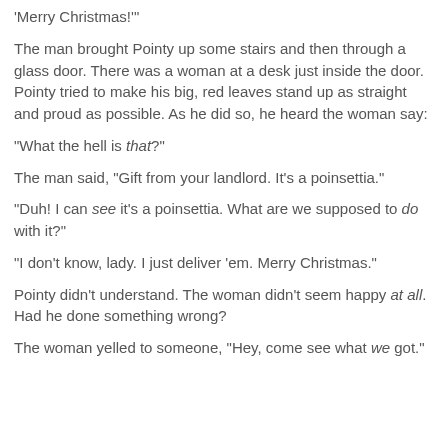'Merry Christmas!'"
The man brought Pointy up some stairs and then through a glass door. There was a woman at a desk just inside the door. Pointy tried to make his big, red leaves stand up as straight and proud as possible. As he did so, he heard the woman say:
"What the hell is that?"
The man said, "Gift from your landlord. It's a poinsettia."
"Duh! I can see it's a poinsettia. What are we supposed to do with it?"
"I don't know, lady. I just deliver 'em. Merry Christmas."
Pointy didn't understand. The woman didn't seem happy at all. Had he done something wrong?
The woman yelled to someone, "Hey, come see what we got."